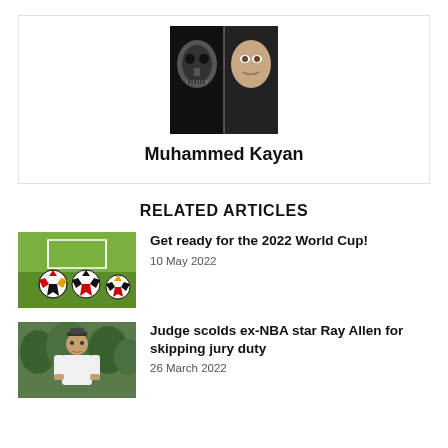[Figure (photo): Half human face, half robot/skull face on black background — author profile photo]
Muhammed Kayan
RELATED ARTICLES
[Figure (photo): Soccer balls on green grass field with goals in background]
Get ready for the 2022 World Cup!
10 May 2022
[Figure (photo): Man in white polo shirt standing outdoors with trees behind]
Judge scolds ex-NBA star Ray Allen for skipping jury duty
26 March 2022